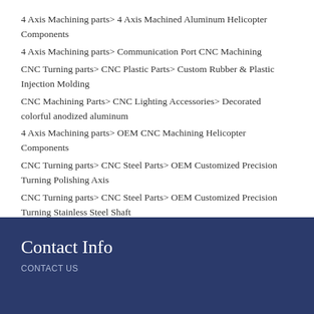4 Axis Machining parts> 4 Axis Machined Aluminum Helicopter Components
4 Axis Machining parts> Communication Port CNC Machining
CNC Turning parts> CNC Plastic Parts> Custom Rubber & Plastic Injection Molding
CNC Machining Parts> CNC Lighting Accessories> Decorated colorful anodized aluminum
4 Axis Machining parts> OEM CNC Machining Helicopter Components
CNC Turning parts> CNC Steel Parts> OEM Customized Precision Turning Polishing Axis
CNC Turning parts> CNC Steel Parts> OEM Customized Precision Turning Stainless Steel Shaft
Contact Info
CONTACT US